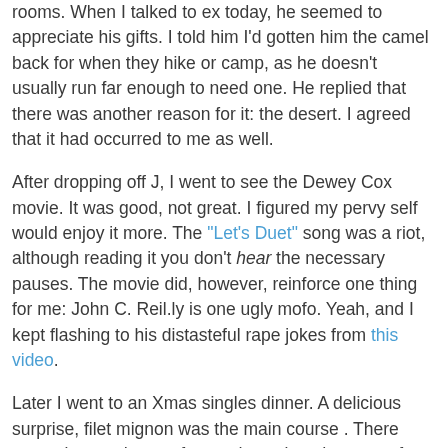rooms. When I talked to ex today, he seemed to appreciate his gifts. I told him I'd gotten him the camel back for when they hike or camp, as he doesn't usually run far enough to need one. He replied that there was another reason for it: the desert. I agreed that it had occurred to me as well.
After dropping off J, I went to see the Dewey Cox movie. It was good, not great. I figured my pervy self would enjoy it more. The "Let's Duet" song was a riot, although reading it you don't hear the necessary pauses. The movie did, however, reinforce one thing for me: John C. Reil.ly is one ugly mofo. Yeah, and I kept flashing to his distasteful rape jokes from this video.
Later I went to an Xmas singles dinner. A delicious surprise, filet mignon was the main course . There were about a dozen of us and we played games after dinner. I am good at games, smarty pants that I am, so I really enjoyed that part. I stayed 4:30 to 12:30, so I was well ocuppied. And no alpha females or exes were there, thank goodness.